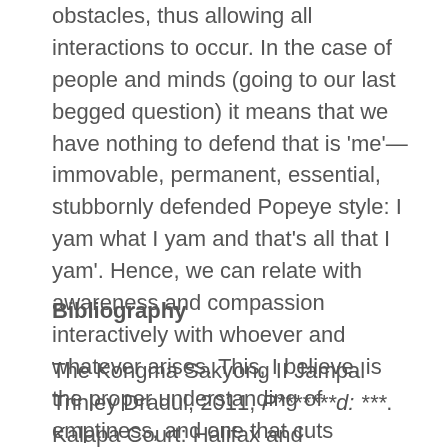obstacles, thus allowing all interactions to occur. In the case of people and minds (going to our last begged question) it means that we have nothing to defend that is 'me'—immovable, permanent, essential, stubbornly defended Popeye style: I yam what I yam and that's all that I yam'. Hence, we can relate with awareness and compassion interactively with whoever and whatever arises. This, I believe, is the proper understanding of emptiness, and one that cuts through the confusion that I perceive around that concept.
Bibliography
The Kongma Sakyong II Jampal Trinley Dradul, 2011, P*******d: ***. Kalapa Court: Halifax and